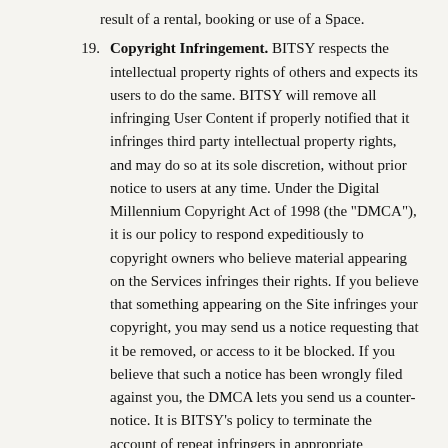result of a rental, booking or use of a Space.
19. Copyright Infringement. BITSY respects the intellectual property rights of others and expects its users to do the same. BITSY will remove all infringing User Content if properly notified that it infringes third party intellectual property rights, and may do so at its sole discretion, without prior notice to users at any time. Under the Digital Millennium Copyright Act of 1998 (the "DMCA"), it is our policy to respond expeditiously to copyright owners who believe material appearing on the Services infringes their rights. If you believe that something appearing on the Site infringes your copyright, you may send us a notice requesting that it be removed, or access to it be blocked. If you believe that such a notice has been wrongly filed against you, the DMCA lets you send us a counter-notice. It is BITSY's policy to terminate the account of repeat infringers in appropriate circumstances, taking all facts and circumstances into account. Notices and counter-notices must meet the DMCA's requirements. We suggest that you consult your legal advisor before filing a notice or counter-notice. Be aware that there can